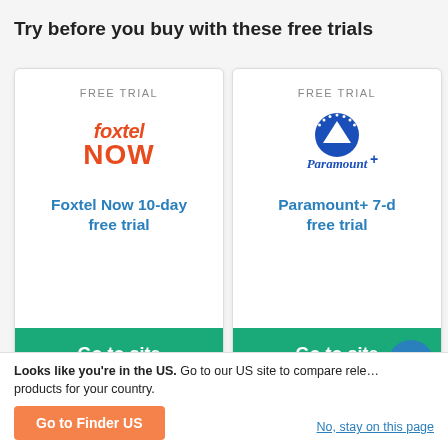Try before you buy with these free trials
[Figure (logo): Foxtel Now orange italic logo]
FREE TRIAL
Foxtel Now 10-day free trial
Go to site
[Figure (logo): Paramount+ blue logo with mountain and stars]
FREE TRIAL
Paramount+ 7-d free trial
Go to site
Looks like you're in the US. Go to our US site to compare rele… products for your country.
Go to Finder US
No, stay on this page